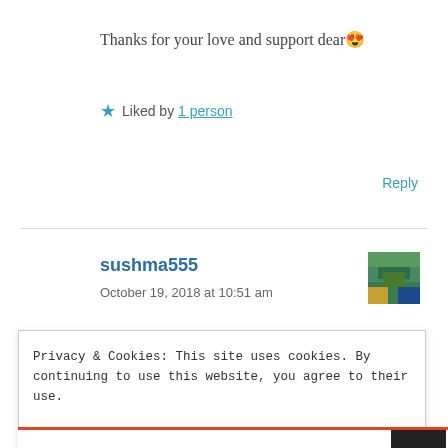Thanks for your love and support dear 😍
★ Liked by 1 person
Reply
sushma555
October 19, 2018 at 10:51 am
[Figure (photo): Avatar thumbnail showing outdoor scene with green and blue tones]
Privacy & Cookies: This site uses cookies. By continuing to use this website, you agree to their use. To find out more, including how to control cookies, see here: Cookie Policy
Close and accept